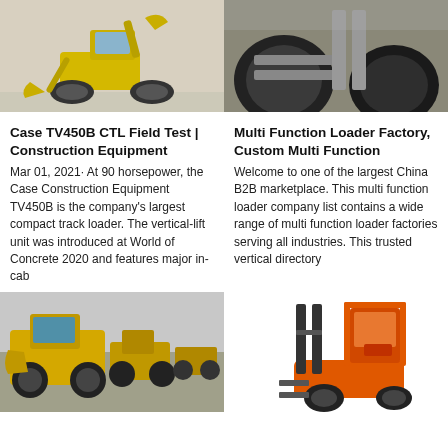[Figure (photo): Yellow backhoe loader / compact track loader (Case TV450B) on white background]
[Figure (photo): Close-up of multi-function loader forks/attachments, grey and orange machinery]
Case TV450B CTL Field Test | Construction Equipment
Mar 01, 2021· At 90 horsepower, the Case Construction Equipment TV450B is the company's largest compact track loader. The vertical-lift unit was introduced at World of Concrete 2020 and features major in-cab
Multi Function Loader Factory, Custom Multi Function
Welcome to one of the largest China B2B marketplace. This multi function loader company list contains a wide range of multi function loader factories serving all industries. This trusted vertical directory
[Figure (photo): Row of yellow wheel loaders parked in a yard, overcast sky]
[Figure (photo): Orange forklift truck on white background]